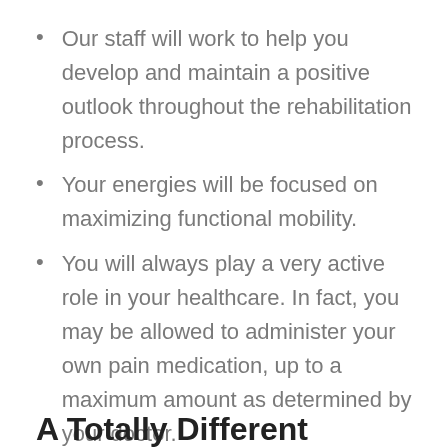Our staff will work to help you develop and maintain a positive outlook throughout the rehabilitation process.
Your energies will be focused on maximizing functional mobility.
You will always play a very active role in your healthcare. In fact, you may be allowed to administer your own pain medication, up to a maximum amount as determined by your doctor.
A Totally Different